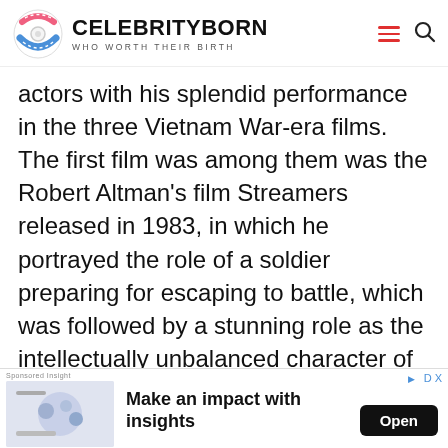CELEBRITYBORN - WHO WORTH THEIR BIRTH
actors with his splendid performance in the three Vietnam War-era films. The first film was among them was the Robert Altman's film Streamers released in 1983, in which he portrayed the role of a soldier preparing for escaping to battle, which was followed by a stunning role as the intellectually unbalanced character of Alan Parker's film Birdy in 1984. Then came arguably the most applauded role of his career when he narrated the war as an open-minded Private Joker
nley Kubrick's film Full Metal Jacket in 1987
[Figure (screenshot): Advertisement banner: Make an impact with insights. Open button.]